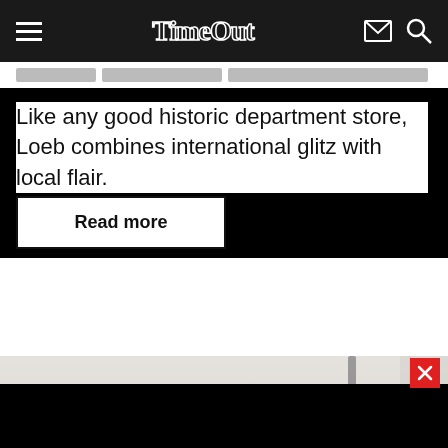Time Out
Like any good historic department store, Loeb combines international glitz with local flair.
Read more
[Figure (photo): Interior of a historic department store showing a white ornate ceiling with recessed spotlights on the left and a large elaborate crystal chandelier on the right.]